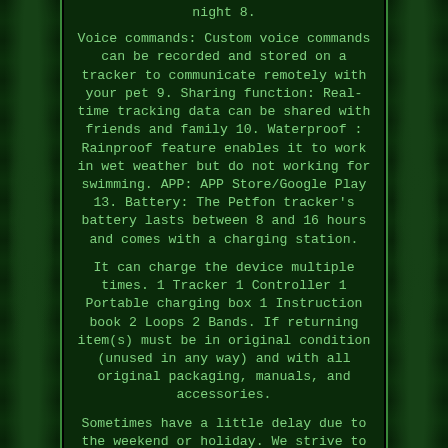night 8.
Voice commands: Custom voice commands can be recorded and stored on a tracker to communicate remotely with your pet 9. Sharing function: Real-time tracking data can be shared with friends and family 10. Waterproof : Rainproof feature enables it to work in wet weather but do not working for swimming. APP: APP Store/Google Play 13. Battery: The Petfon tracker's battery lasts between 8 and 16 hours and comes with a charging station.
It can charge the device multiple times. 1 Tracker 1 Controller 1 Portable charging box 1 Instruction book 2 Loops 2 Bands. If returning item(s) must be in original condition (unused in any way) and with all original packaging, manuals, and accessories.
Sometimes have a little delay due to the weekend or holiday. We strive to provide the best products and services. 5 stars help us do better.
We are always here to help. We also provide accurate information for our products, prompt communication and reasonable and fair price (the balance between price and quality) to our customers. We are welcome and happy if you have any issues, problems or suggestions